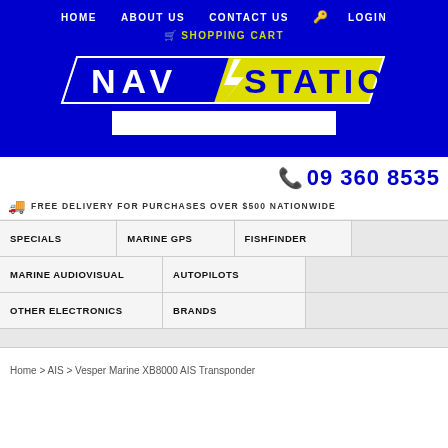HOME  ABOUT US  CONTACT US  LOGIN  SHOPPING CART
[Figure (logo): NavStation logo - blue and yellow parallelogram design with text NAV STATION]
09 360 8535
FREE DELIVERY FOR PURCHASES OVER $500 NATIONWIDE
SPECIALS
MARINE GPS
FISHFINDER
MARINE AUDIOVISUAL
AUTOPILOTS
OTHER ELECTRONICS
BRANDS
Home > AIS > Vesper Marine XB8000 AIS Transponder